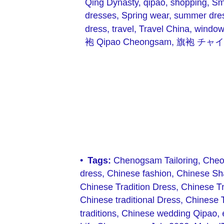Qing Dynasty, qipao, shopping, Smart Fashion, Spring Collection, spring dress, Spring dresses, Spring wear, summer dress, summer wear, Summery wear, tailor clothing, tailored dress, travel, Travel China, window shopping, winter dress, winter wear, work wear, 旗袍, 旗袍 Qipao Cheongsam, 旗袍 チャイナドレス
Tags: Chenogsam Tailoring, Cheongsam, Cheongsam embroidery painting, china, Chinese dress, Chinese fashion, Chinese Shanghai style cheongsam, Chinese Tradition clothes, Chinese Tradition Dress, Chinese Traditional Architecture, Chinese Traditional Clothes, Chinese traditional Dress, Chinese Traditional fashion, Chinese Traditional Qipao, Chinese traditions, Chinese wedding Qipao, everyday wear, fashion, fashion look book, Half Life, Half Life Cheongsam, July 2022, Make IT China, Make it China Think China, Make it Chinese fashion, Ming Dynasty, modern cheongsam, People's Republic of China, Qing Dynasty, Qing Dynasty Cheongsam, qipao